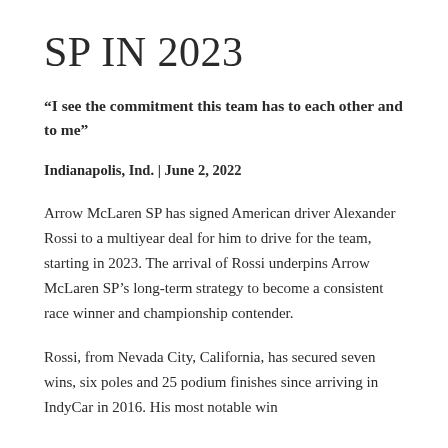SP IN 2023
“I see the commitment this team has to each other and to me”
Indianapolis, Ind. | June 2, 2022
Arrow McLaren SP has signed American driver Alexander Rossi to a multiyear deal for him to drive for the team, starting in 2023. The arrival of Rossi underpins Arrow McLaren SP’s long-term strategy to become a consistent race winner and championship contender.
Rossi, from Nevada City, California, has secured seven wins, six poles and 25 podium finishes since arriving in IndyCar in 2016. His most notable win